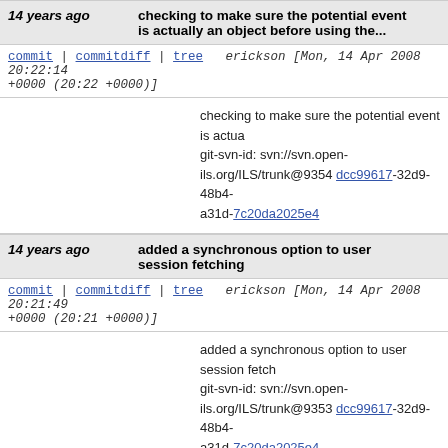14 years ago  checking to make sure the potential event is actually an object before using the...
commit | commitdiff | tree   erickson [Mon, 14 Apr 2008 20:22:14 +0000 (20:22 +0000)]
checking to make sure the potential event is actua

git-svn-id: svn://svn.open-ils.org/ILS/trunk@9354 dcc99617-32d9-48b4-a31d-7c20da2025e4
14 years ago  added a synchronous option to user session fetching
commit | commitdiff | tree   erickson [Mon, 14 Apr 2008 20:21:49 +0000 (20:21 +0000)]
added a synchronous option to user session fetch

git-svn-id: svn://svn.open-ils.org/ILS/trunk@9353 dcc99617-32d9-48b4-a31d-7c20da2025e4
14 years ago  rolling back segregation by branch.. if that kind of pre-sorting is needed, just...
commit | commitdiff | tree   erickson [Mon, 14 Apr 2008 19:03:36